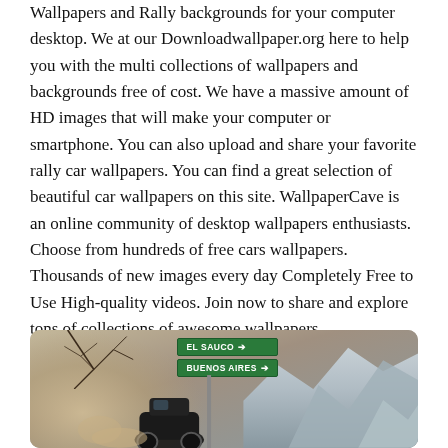Wallpapers and Rally backgrounds for your computer desktop. We at our Downloadwallpaper.org here to help you with the multi collections of wallpapers and backgrounds free of cost. We have a massive amount of HD images that will make your computer or smartphone. You can also upload and share your favorite rally car wallpapers. You can find a great selection of beautiful car wallpapers on this site. WallpaperCave is an online community of desktop wallpapers enthusiasts. Choose from hundreds of free cars wallpapers. Thousands of new images every day Completely Free to Use High-quality videos. Join now to share and explore tons of collections of awesome wallpapers.
[Figure (photo): A rally car driving on a dusty road past a green road sign reading 'EL SAUCO' with an arrow, and below it 'BUENOS AIRES' with an arrow. There is a large dust cloud on the left side, bare tree branches visible at the top left, and mountains in the background on the right.]